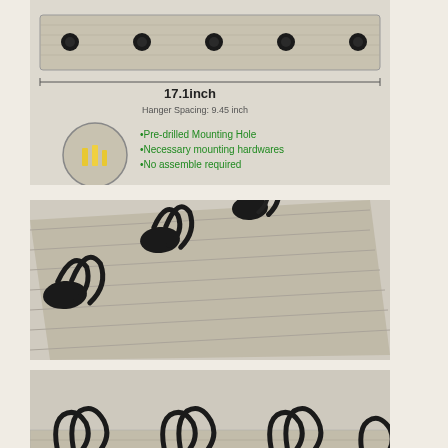[Figure (photo): Product dimension diagram of a wall-mounted coat rack with hooks. Shows top view with 5 hooks evenly spaced. Measurement label '17.1inch' spans the board width. 'Hanger Spacing: 9.45 inch' noted. Inset circle shows pre-drilled mounting hardware (yellow anchors). Text listing: Pre-drilled Mounting Hole, Necessary mounting hardwares, No assemble required.]
[Figure (photo): Close-up angled photo of a wall-mounted coat rack with dark cast-iron double hooks on a light wood grain board, viewed from the side showing 3 hooks.]
[Figure (photo): Front view photo of a wall-mounted coat rack with 4 dark cast-iron double hooks on a light wood grain board, showing the full width of the rack.]